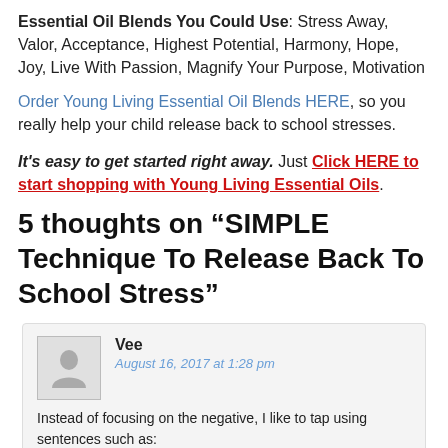Essential Oil Blends You Could Use: Stress Away, Valor, Acceptance, Highest Potential, Harmony, Hope, Joy, Live With Passion, Magnify Your Purpose, Motivation
Order Young Living Essential Oil Blends HERE, so you really help your child release back to school stresses.
It's easy to get started right away. Just Click HERE to start shopping with Young Living Essential Oils.
5 thoughts on “SIMPLE Technique To Release Back To School Stress”
Vee
August 16, 2017 at 1:28 pm
Instead of focusing on the negative, I like to tap using sentences such as:
I thank you Heavenly Father for guiding my day today.
I thank you Heavenly Father for loving me.